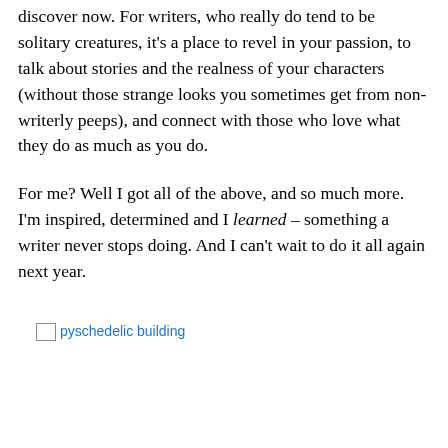discover now. For writers, who really do tend to be solitary creatures, it's a place to revel in your passion, to talk about stories and the realness of your characters (without those strange looks you sometimes get from non-writerly peeps), and connect with those who love what they do as much as you do.
For me? Well I got all of the above, and so much more. I'm inspired, determined and I learned – something a writer never stops doing. And I can't wait to do it all again next year.
[Figure (photo): Broken image placeholder with alt text 'pyschedelic building']